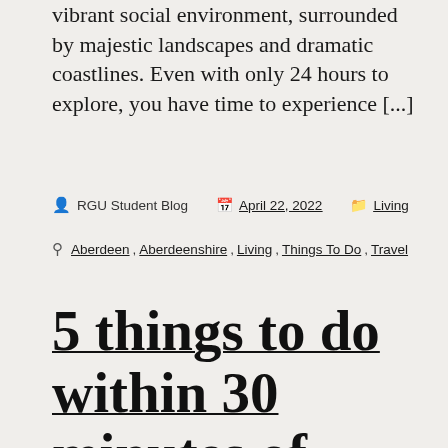vibrant social environment, surrounded by majestic landscapes and dramatic coastlines. Even with only 24 hours to explore, you have time to experience [...]
RGU Student Blog   April 22, 2022   Living
Aberdeen , Aberdeenshire , Living , Things To Do , Travel
5 things to do within 30 minutes of Aberdeen